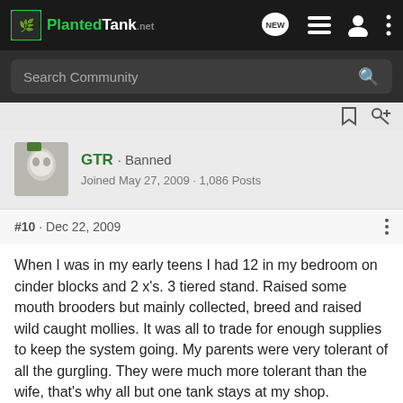PlantedTank
Search Community
GTR · Banned
Joined May 27, 2009 · 1,086 Posts
#10 · Dec 22, 2009
When I was in my early teens I had 12 in my bedroom on cinder blocks and 2 x's. 3 tiered stand. Raised some mouth brooders but mainly collected, breed and raised wild caught mollies. It was all to trade for enough supplies to keep the system going. My parents were very tolerant of all the gurgling. They were much more tolerant than the wife, that's why all but one tank stays at my shop.
hope she doesn't read this.